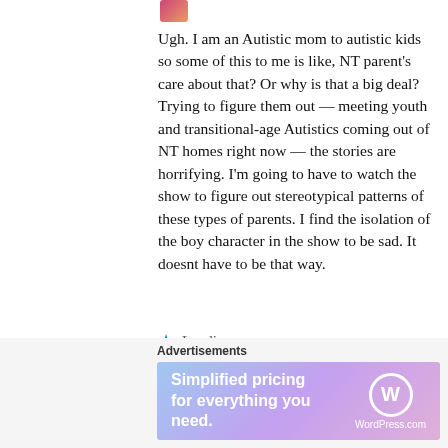Ugh. I am an Autistic mom to autistic kids so some of this to me is like, NT parent’s care about that? Or why is that a big deal? Trying to figure them out — meeting youth and transitional-age Autistics coming out of NT homes right now — the stories are horrifying. I’m going to have to watch the show to figure out stereotypical patterns of these types of parents. I find the isolation of the boy character in the show to be sad. It doesnt have to be that way.
Loading...
Advertisements
[Figure (other): WordPress.com advertisement banner: 'Simplified pricing for everything you need.' with WordPress.com logo on a purple-blue gradient background.]